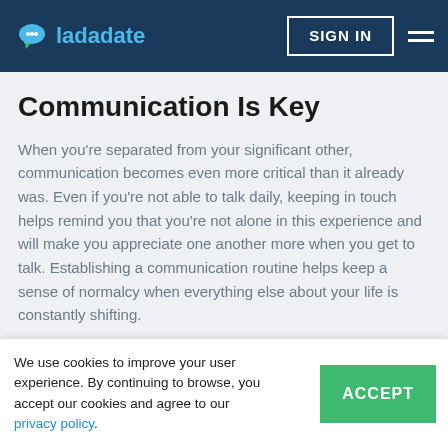ladadate | SIGN IN
Communication Is Key
When you're separated from your significant other, communication becomes even more critical than it already was. Even if you're not able to talk daily, keeping in touch helps remind you that you're not alone in this experience and will make you appreciate one another more when you get to talk. Establishing a communication routine helps keep a sense of normalcy when everything else about your life is constantly shifting.
There Are So Many Rules
We use cookies to improve your user experience. By continuing to browse, you accept our cookies and agree to our privacy policy.